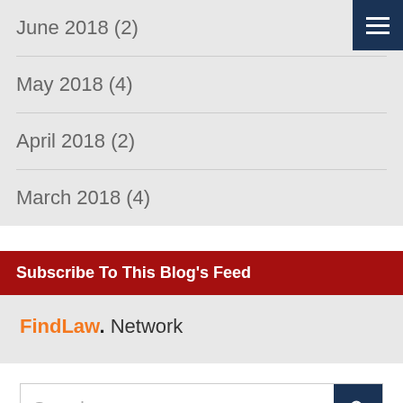June 2018 (2)
May 2018 (4)
April 2018 (2)
March 2018 (4)
Subscribe To This Blog's Feed
FindLaw. Network
Search...